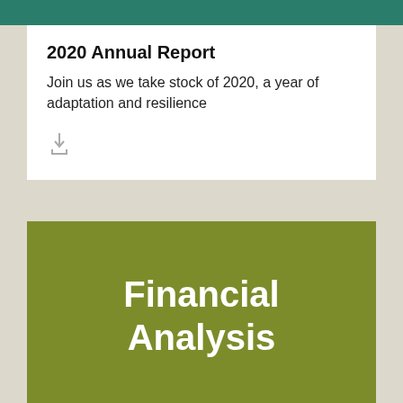2020 Annual Report
Join us as we take stock of 2020, a year of adaptation and resilience
[Figure (other): Download icon — arrow pointing downward into a tray]
Financial Analysis